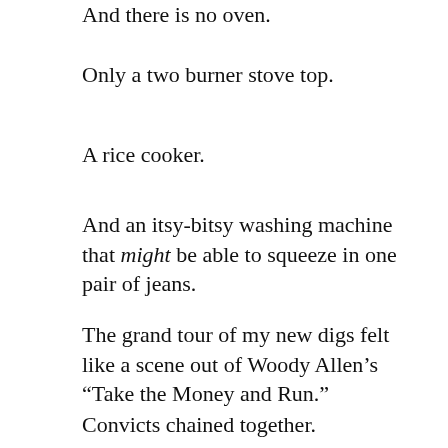And there is no oven.
Only a two burner stove top.
A rice cooker.
And an itsy-bitsy washing machine that might be able to squeeze in one pair of jeans.
The grand tour of my new digs felt like a scene out of Woody Allen’s “Take the Money and Run.”
Convicts chained together.
The entire Shintomi Board of Education